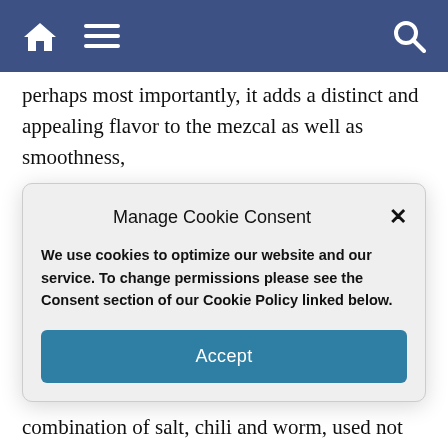Navigation bar with home, menu, and search icons
g ... perhaps most importantly, it adds a distinct and appealing flavor to the mezcal as well as smoothness,
Manage Cookie Consent
We use cookies to optimize our website and our service. To change permissions please see the Consent section of our Cookie Policy linked below.
Accept
combination of salt, chili and worm, used not only in the ritual of imbibing, but also to bring out and add flavor to fruit, to rim glasses used to serve other alcoholic beverages, and more.